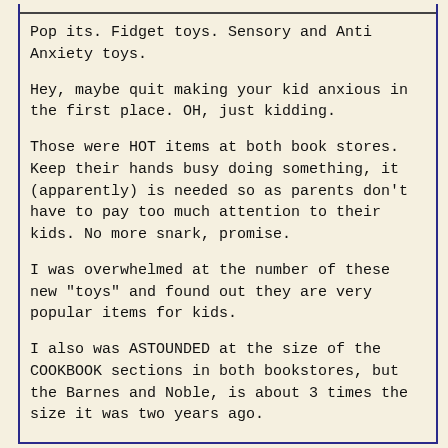Pop its. Fidget toys. Sensory and Anti Anxiety toys.
Hey, maybe quit making your kid anxious in the first place. OH, just kidding.
Those were HOT items at both book stores. Keep their hands busy doing something, it (apparently) is needed so as parents don't have to pay too much attention to their kids. No more snark, promise.
I was overwhelmed at the number of these new "toys" and found out they are very popular items for kids.
I also was ASTOUNDED at the size of the COOKBOOK sections in both bookstores, but the Barnes and Noble, is about 3 times the size it was two years ago.
It takes up a wall about 20 yards long.
Amazing. And to go along with that, the COOKING magazine section was bigger than it has ever been.